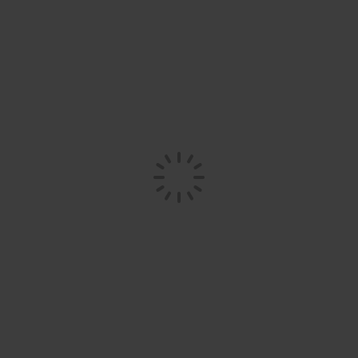[Figure (other): A loading spinner icon centered on a dark gray background. The spinner consists of short dark strokes radiating outward from the center in a circular pattern, resembling a clock face with tick marks, indicating a loading or processing state.]